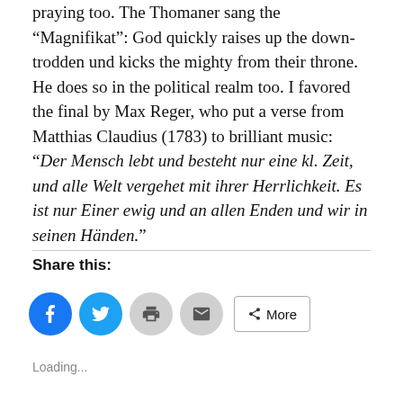praying too. The Thomaner sang the “Magnifikat”: God quickly raises up the down-trodden und kicks the mighty from their throne. He does so in the political realm too. I favored the final by Max Reger, who put a verse from Matthias Claudius (1783) to brilliant music: “Der Mensch lebt und besteht nur eine kl. Zeit, und alle Welt vergehet mit ihrer Herrlichkeit. Es ist nur Einer ewig und an allen Enden und wir in seinen Händen.”
Share this:
[Figure (infographic): Social share buttons: Facebook (blue circle), Twitter (teal circle), Print (grey circle), Email (grey circle), and a More button with share icon]
Loading...